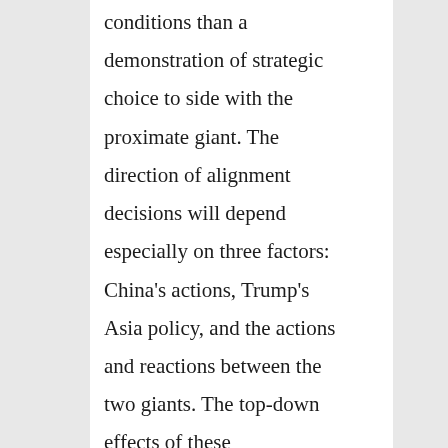conditions than a demonstration of strategic choice to side with the proximate giant. The direction of alignment decisions will depend especially on three factors: China's actions, Trump's Asia policy, and the actions and reactions between the two giants. The top-down effects of these interactions will then be filtered by domestic